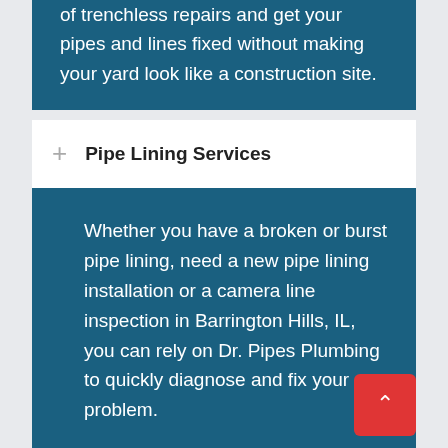of trenchless repairs and get your pipes and lines fixed without making your yard look like a construction site.
Pipe Lining Services
Whether you have a broken or burst pipe lining, need a new pipe lining installation or a camera line inspection in Barrington Hills, IL, you can rely on Dr. Pipes Plumbing to quickly diagnose and fix your problem.
Water Jetting Services
Whether you have a clogged drain or some other blockage, water jetting can be a great